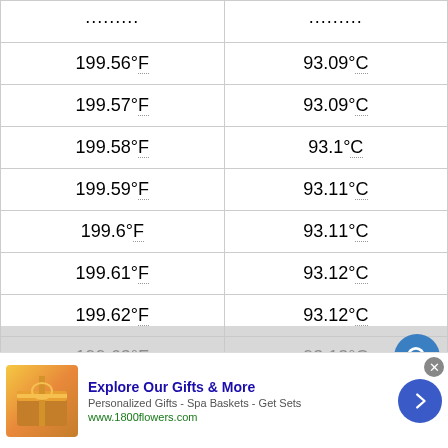| °F | °C |
| --- | --- |
| ......... | ......... |
| 199.56°F | 93.09°C |
| 199.57°F | 93.09°C |
| 199.58°F | 93.1°C |
| 199.59°F | 93.11°C |
| 199.6°F | 93.11°C |
| 199.61°F | 93.12°C |
| 199.62°F | 93.12°C |
| 199.63°F | 93.13°C |
How to Convert From Fahrenheit to C... No compatible source was found for this media.
Explore Our Gifts & More — Personalized Gifts - Spa Baskets - Get Sets — www.1800flowers.com